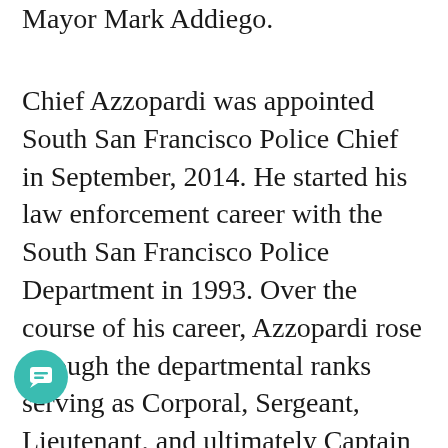Mayor Mark Addiego.
Chief Azzopardi was appointed South San Francisco Police Chief in September, 2014. He started his law enforcement career with the South San Francisco Police Department in 1993. Over the course of his career, Azzopardi rose through the departmental ranks serving as Corporal, Sergeant, Lieutenant, and ultimately Captain in 2009. As a Captain, Azzopardi led both the Operations Division as well as the Services Division. “Azzopardi’s experience, along with his collaborative leadership, provides the ideal foundation for partnerships with the community to make sure that South San Francisco remains one of the safest cities